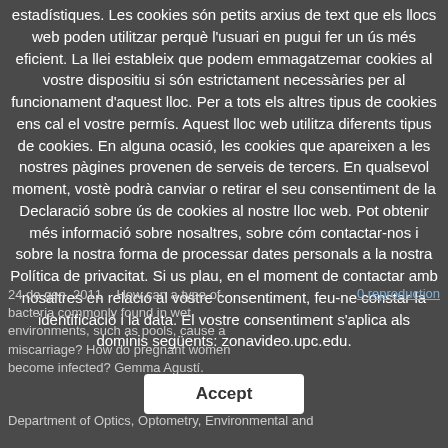estadístiques. Les cookies són petits arxius de text que els llocs web poden utilitzar perquè l'usuari en pugui fer un ús més eficient. La llei estableix que podem emmagatzemar cookies al vostre dispositiu si són estrictament necessàries per al funcionament d'aquest lloc. Per a tots els altres tipus de cookies ens cal el vostre permís. Aquest lloc web utilitza diferents tipus de cookies. En alguna ocasió, les cookies que apareixen a les nostres pàgines provenen de serveis de tercers. En qualsevol moment, vostè podrà canviar o retirar el seu consentiment de la Declaració sobre ús de cookies al nostre lloc web. Pot obtenir més informació sobre nosaltres, sobre cóm contactar-nos i sobre la nostra forma de processar dates personals a la nostra Política de privacitat. Si us plau, en el moment de contactar amb nosaltres en relació al vostre consentiment, feu-ne constar la identificació i la data. El vostre consentiment s'aplica als dominis següents: zonavideo.upc.edu.
24 de gen. 2011   How can a type of bacteria commonly found in wet environments, such as pools, cause a miscarriage? How do pregnant women become infected? Gemma Agustí.
0 reproduction
Department of Optics, Optometry, Environmental and
Accept